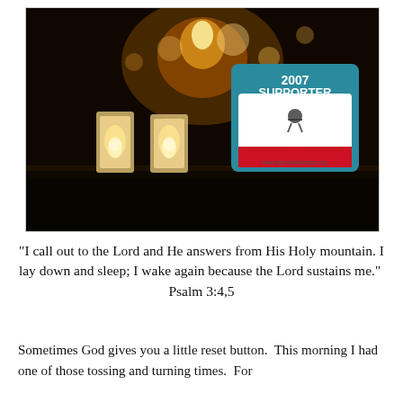[Figure (photo): A dark, atmospheric photograph showing glowing candles or luminaries in the foreground against a black background, with a '2007 SUPPORTER Special Olympics www.specialolympics.org' sticker/badge visible in the upper right of the frame.]
“I call out to the Lord and He answers from His Holy mountain. I lay down and sleep; I wake again because the Lord sustains me.”  Psalm 3:4,5
Sometimes God gives you a little reset button. This morning I had one of those tossing and turning times. For